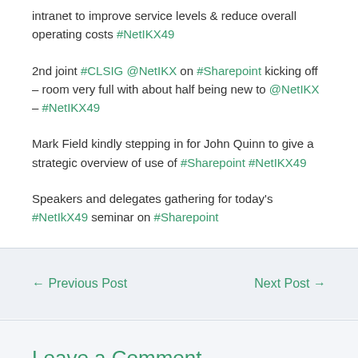intranet to improve service levels & reduce overall operating costs #NetIKX49
2nd joint #CLSIG @NetIKX on #Sharepoint kicking off – room very full with about half being new to @NetIKX – #NetIKX49
Mark Field kindly stepping in for John Quinn to give a strategic overview of use of #Sharepoint #NetIKX49
Speakers and delegates gathering for today's #NetIkX49 seminar on #Sharepoint
← Previous Post   Next Post →
Leave a Comment